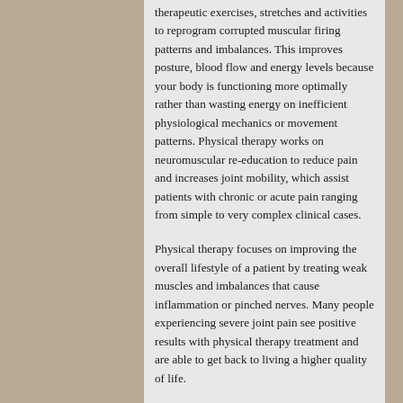therapeutic exercises, stretches and activities to reprogram corrupted muscular firing patterns and imbalances. This improves posture, blood flow and energy levels because your body is functioning more optimally rather than wasting energy on inefficient physiological mechanics or movement patterns. Physical therapy works on neuromuscular re-education to reduce pain and increases joint mobility, which assist patients with chronic or acute pain ranging from simple to very complex clinical cases.
Physical therapy focuses on improving the overall lifestyle of a patient by treating weak muscles and imbalances that cause inflammation or pinched nerves. Many people experiencing severe joint pain see positive results with physical therapy treatment and are able to get back to living a higher quality of life.
One of the biggest medical issues experienced by people after the age of 30 is